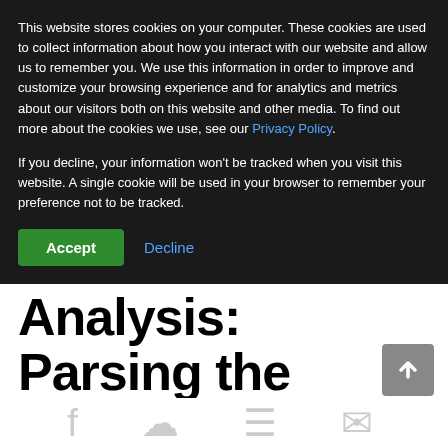This website stores cookies on your computer. These cookies are used to collect information about how you interact with our website and allow us to remember you. We use this information in order to improve and customize your browsing experience and for analytics and metrics about our visitors both on this website and other media. To find out more about the cookies we use, see our Privacy Policy.
If you decline, your information won't be tracked when you visit this website. A single cookie will be used in your browser to remember your preference not to be tracked.
Accept   Decline
Analysis: Parsing the Causes for a Historic Service Collapse
By Leo Raymond